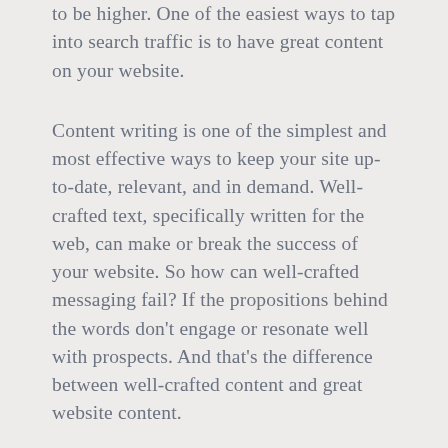to be higher. One of the easiest ways to tap into search traffic is to have great content on your website.
Content writing is one of the simplest and most effective ways to keep your site up-to-date, relevant, and in demand. Well-crafted text, specifically written for the web, can make or break the success of your website. So how can well-crafted messaging fail? If the propositions behind the words don't engage or resonate well with prospects. And that's the difference between well-crafted content and great website content.
You may think that talking about how your business is so terrific and unique will sell well. But if you tell prospects you're the #1 insurance